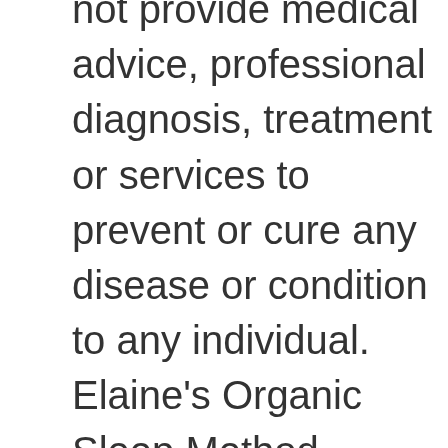not provide medical advice, professional diagnosis, treatment or services to prevent or cure any disease or condition to any individual. Elaine's Organic Sleep Method, www.organicsleepmethod.com, www.elainegoldman.com, and Elaine Goldman